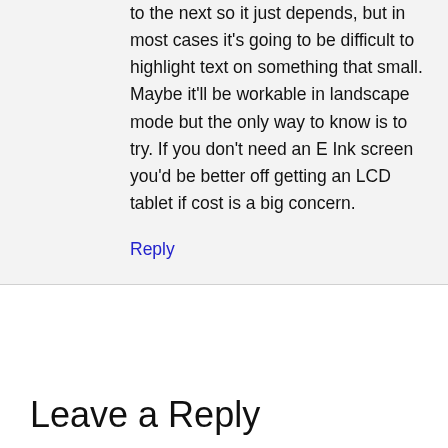to the next so it just depends, but in most cases it's going to be difficult to highlight text on something that small. Maybe it'll be workable in landscape mode but the only way to know is to try. If you don't need an E Ink screen you'd be better off getting an LCD tablet if cost is a big concern.
Reply
Leave a Reply